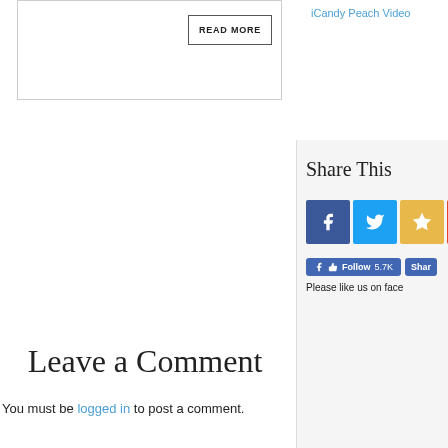[Figure (screenshot): Partial card box with READ MORE button]
iCandy Peach Video
Share This
[Figure (infographic): Social share icons: Facebook, Twitter, Star/Bookmark, Mix]
Follow 5.7K  Share
Please like us on face
Leave a Comment
You must be logged in to post a comment.